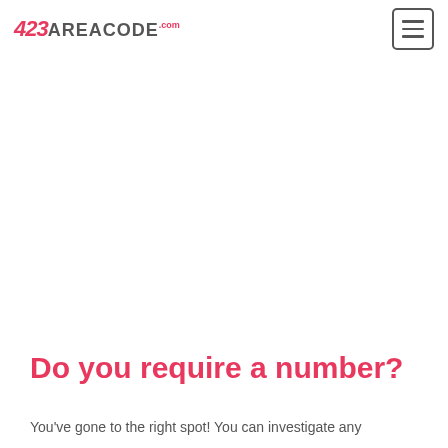123AreaCode.com
Do you require a number?
You've gone to the right spot! You can investigate any